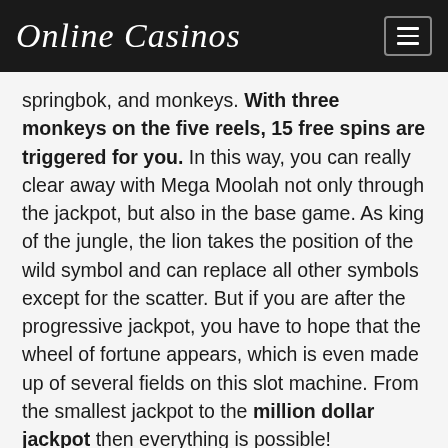Online Casinos
springbok, and monkeys. With three monkeys on the five reels, 15 free spins are triggered for you. In this way, you can really clear away with Mega Moolah not only through the jackpot, but also in the base game. As king of the jungle, the lion takes the position of the wild symbol and can replace all other symbols except for the scatter. But if you are after the progressive jackpot, you have to hope that the wheel of fortune appears, which is even made up of several fields on this slot machine. From the smallest jackpot to the million dollar jackpot then everything is possible!
Mega Moolah: The most important facts at a glance